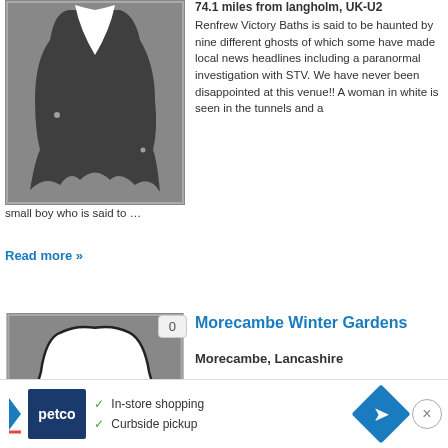[Figure (illustration): Ghost/haunted location thumbnail image with dark grey background and white ghost-like shape]
74.1 miles from langholm, UK-U2
Renfrew Victory Baths is said to be haunted by nine different ghosts of which some have made local news headlines including a paranormal investigation with STV. We have never been disappointed at this venue!! A woman in white is seen in the tunnels and a small boy who is said to …
Read more »
[Figure (illustration): Cartoon ghost illustration on grey background with white ghost figure, badge showing 0]
Morecambe Winter Gardens
Morecambe, Lancashire
74.6 miles from langholm, UK-U2
In the main auditorium, people have been pushed, slapped, and harrassed by someone who isn't there. In the dressing romo, a failed actress is heard muttering and commonly is said to have a moody energy. The cellar has the highest amount of psychic energy here; people have had sudden mood
Read more »
[Figure (screenshot): Petco advertisement banner with logo, checkmarks for In-store shopping and Curbside pickup, navigation icon, and close button]